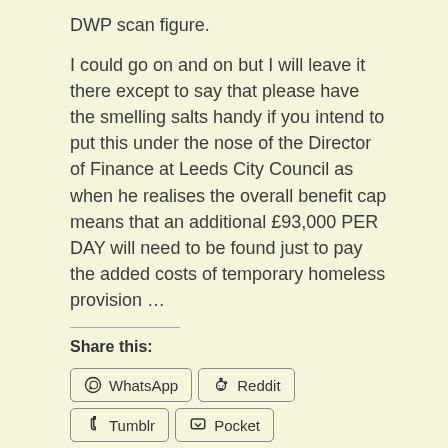DWP scan figure.
I could go on and on but I will leave it there except to say that please have the smelling salts handy if you intend to put this under the nose of the Director of Finance at Leeds City Council as when he realises the overall benefit cap means that an additional £93,000 PER DAY will need to be found just to pay the added costs of temporary homeless provision …
Share this:
WhatsApp
Reddit
Tumblr
Pocket
Print
Email
Pinterest
LinkedIn
Facebook
Twitter